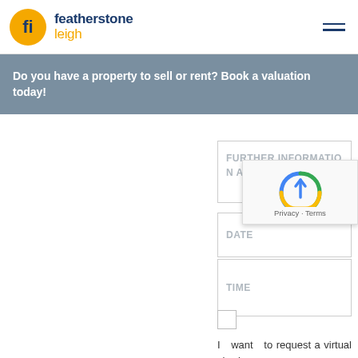featherstone leigh
Do you have a property to sell or rent? Book a valuation today!
FURTHER INFORMATION ABOUT THIS
DATE
TIME
I want to request a virtual viewing